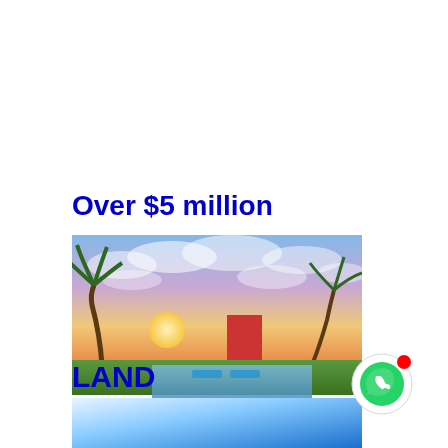Over $5 million
[Figure (photo): Luxury property with an infinity pool, tropical palm trees, sunset sky with clouds, green lawn, and pink flowering plants in the foreground.]
LAND
[Figure (photo): Partially visible image with blue and white gradient, likely a land or sky photo for a real estate listing.]
[Figure (other): WhatsApp chat button icon — circular white background with green WhatsApp logo and a red notification dot.]